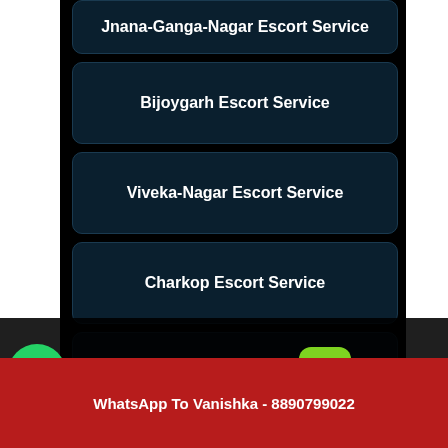Jnana-Ganga-Nagar Escort Service
Bijoygarh Escort Service
Viveka-Nagar Escort Service
Charkop Escort Service
Tiwaripur Escort Service
Anora Escort Service
Undri Escort Service
Sector-V Escort Service
Whatsapp click to chat
Call Vanishka Now - 8890799022
Click here.
WhatsApp To Vanishka - 8890799022